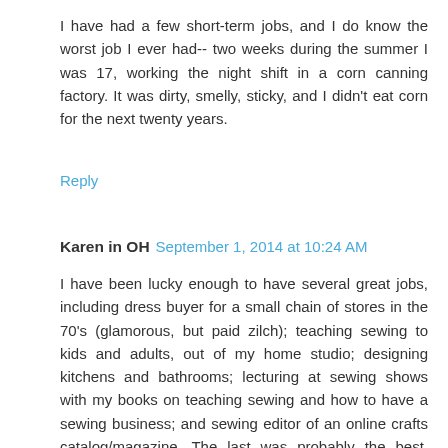I have had a few short-term jobs, and I do know the worst job I ever had-- two weeks during the summer I was 17, working the night shift in a corn canning factory. It was dirty, smelly, sticky, and I didn't eat corn for the next twenty years.
Reply
Karen in OH  September 1, 2014 at 10:24 AM
I have been lucky enough to have several great jobs, including dress buyer for a small chain of stores in the 70's (glamorous, but paid zilch); teaching sewing to kids and adults, out of my home studio; designing kitchens and bathrooms; lecturing at sewing shows with my books on teaching sewing and how to have a sewing business; and sewing editor of an online crafts catalog/magazine. The last was probably the best, although it went down in flames with the dotcom bust. But i worked from home, emailing and teleconferencing daily with nine other editors (including ones for quilting, knitting, kids'crafts, painting, decorative arts, and others I can't remember), and the publisher. The